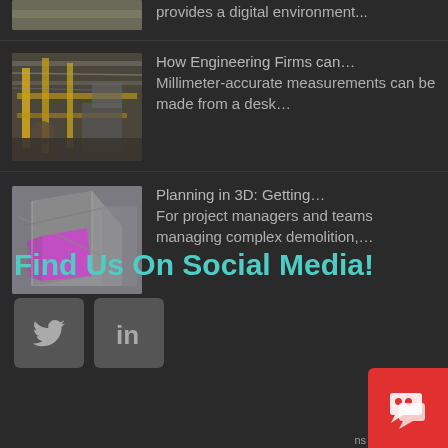[Figure (photo): Partial view of industrial/factory setting cut off at top]
provides a digital environment...
[Figure (photo): Industrial engineering facility with yellow structural beams and machinery]
How Engineering Firms can...
Millimeter-accurate measurements can be made from a desk...
[Figure (photo): 3D planning image with pink/magenta highlighted building structure]
Planning in 3D: Getting...
For project managers and teams managing complex demolition,...
Find Us On Social Media!
[Figure (other): Twitter bird icon in dark grey rounded square button]
[Figure (other): LinkedIn 'in' icon in dark grey rounded square button]
[Figure (other): Red chat/messaging button with speech bubble icon at bottom right]